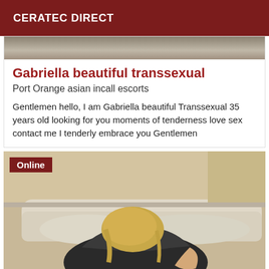CERATEC DIRECT
[Figure (photo): Partial photo strip at top of card]
Gabriella beautiful transsexual
Port Orange asian incall escorts
Gentlemen hello, I am Gabriella beautiful Transsexual 35 years old looking for you moments of tenderness love sex contact me I tenderly embrace you Gentlemen
[Figure (photo): Photo of a person seated on a couch, viewed from behind, with an 'Online' badge overlay in the top-left corner]